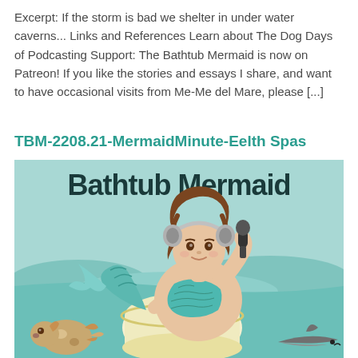Excerpt: If the storm is bad we shelter in under water caverns... Links and References Learn about The Dog Days of Podcasting Support: The Bathtub Mermaid is now on Patreon! If you like the stories and essays I share, and want to have occasional visits from Me-Me del Mare, please [...]
TBM-2208.21-MermaidMinute-Eelth Spas
[Figure (illustration): Illustration of the Bathtub Mermaid podcast logo: a plus-sized mermaid with brown hair wearing gray headphones and holding a microphone, sitting in a white bathtub, with a teal/blue ocean background. The text 'Bathtub Mermaid' appears at the top in large dark teal bold letters. A small spotted fish (chihuahua-fish hybrid) is on the left, and a shark is at the bottom right.]